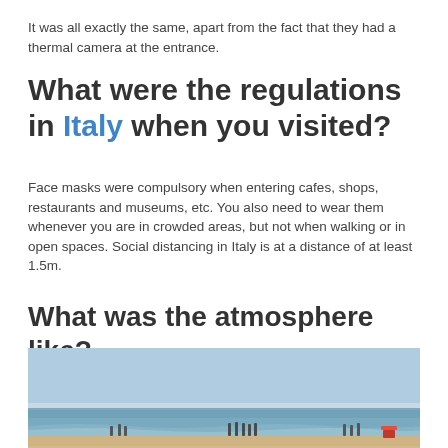It was all exactly the same, apart from the fact that they had a thermal camera at the entrance.
What were the regulations in Italy when you visited?
Face masks were compulsory when entering cafes, shops, restaurants and museums, etc. You also need to wear them whenever you are in crowded areas, but not when walking or in open spaces. Social distancing in Italy is at a distance of at least 1.5m.
What was the atmosphere like?
[Figure (photo): Beach scene with people standing near the shoreline, sandy beach in foreground, ocean and light blue sky in background.]